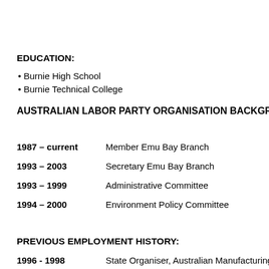EDUCATION:
Burnie High School
Burnie Technical College
AUSTRALIAN LABOR PARTY ORGANISATION BACKGROUND
1987 – current   Member Emu Bay Branch
1993 – 2003      Secretary Emu Bay Branch
1993 – 1999      Administrative Committee
1994 – 2000      Environment Policy Committee
PREVIOUS EMPLOYMENT HISTORY:
1996 - 1998   State Organiser, Australian Manufacturing Wor